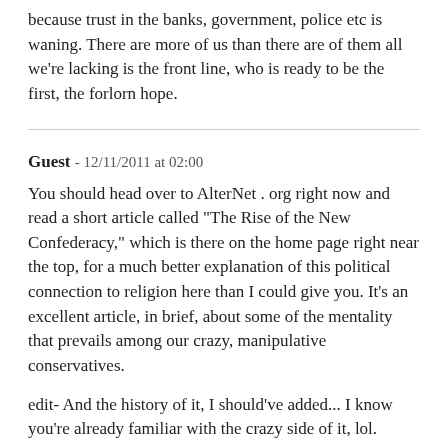because trust in the banks, government, police etc is waning. There are more of us than there are of them all we're lacking is the front line, who is ready to be the first, the forlorn hope.
Guest - 12/11/2011 at 02:00
You should head over to AlterNet . org right now and read a short article called "The Rise of the New Confederacy," which is there on the home page right near the top, for a much better explanation of this political connection to religion here than I could give you. It's an excellent article, in brief, about some of the mentality that prevails among our crazy, manipulative conservatives.
edit- And the history of it, I should've added... I know you're already familiar with the crazy side of it, lol.